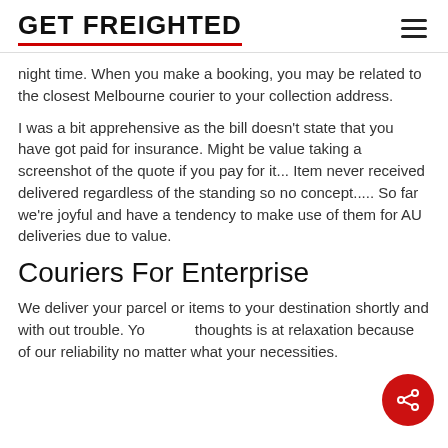GET FREIGHTED
night time. When you make a booking, you may be related to the closest Melbourne courier to your collection address.
I was a bit apprehensive as the bill doesn't state that you have got paid for insurance. Might be value taking a screenshot of the quote if you pay for it... Item never received delivered regardless of the standing so no concept..... So far we're joyful and have a tendency to make use of them for AU deliveries due to value.
Couriers For Enterprise
We deliver your parcel or items to your destination shortly and with out trouble. Your thoughts is at relaxation because of our reliability no matter what your necessities.